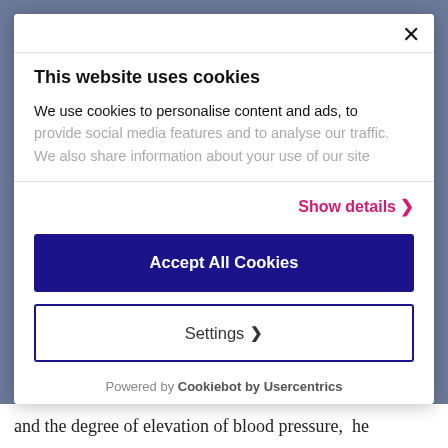This website uses cookies
We use cookies to personalise content and ads, to provide social media features and to analyse our traffic. We also share information about your use of our site
Show details >
Accept All Cookies
Settings >
Powered by Cookiebot by Usercentrics
and the degree of elevation of blood pressure, he